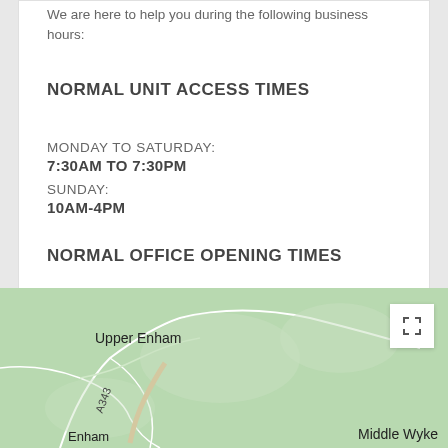We are here to help you during the following business hours:
NORMAL UNIT ACCESS TIMES
MONDAY TO SATURDAY:
7:30AM TO 7:30PM
SUNDAY:
10AM-4PM
NORMAL OFFICE OPENING TIMES
MONDAY TO FRIDAY:
9:00AM TO 5:00PM
[Figure (map): Google Maps screenshot showing Upper Enham, Middle Wyke, Enham area with road A343 marked, green terrain]